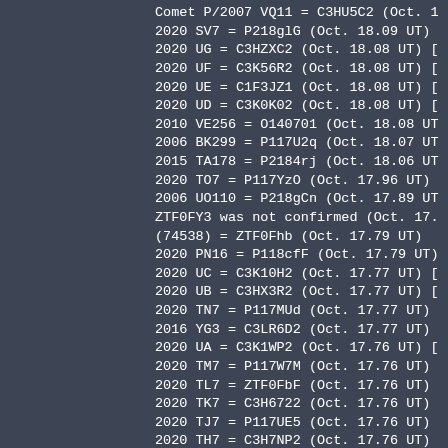Comet P/2007 VQ11 = C3HU5C2 (Oct. 1
2020 SV7 = P218glG (Oct. 18.09 UT)
2020 UG = C3HZXC2 (Oct. 18.08 UT) [
2020 UF = C3K56R2 (Oct. 18.08 UT) [
2020 UE = C1F3JZ1 (Oct. 18.08 UT) [
2020 UD = C3K0K02 (Oct. 18.08 UT) [
2010 VE256 = O140701 (Oct. 18.08 UT
2006 BK299 = P117U2q (Oct. 18.07 UT
2015 TA178 = P2184rj (Oct. 18.06 UT
2020 TO7 = P117YzO (Oct. 17.96 UT)
2006 UO110 = P218gCn (Oct. 17.89 UT
ZTF0FY3 was not confirmed (Oct. 17.
(74538) = ZTF0Fhb (Oct. 17.79 UT)
2020 PN16 = P118cfF (Oct. 17.79 UT)
2020 UC = C3K10H2 (Oct. 17.77 UT) [
2020 UB = C3HX3R2 (Oct. 17.77 UT) [
2020 TN7 = P117MUd (Oct. 17.77 UT)
2016 YG3 = C3LR6D2 (Oct. 17.77 UT)
2020 UA = C3K1WP2 (Oct. 17.76 UT) [
2020 TM7 = P117W7M (Oct. 17.76 UT)
2020 TL7 = ZTF0FbF (Oct. 17.76 UT)
2020 TK7 = C3H6722 (Oct. 17.76 UT)
2020 TJ7 = P117UE5 (Oct. 17.76 UT)
2020 TH7 = C3H7NP2 (Oct. 17.76 UT)
2016 SG2 = P1182TK (Oct. 17.76 UT)